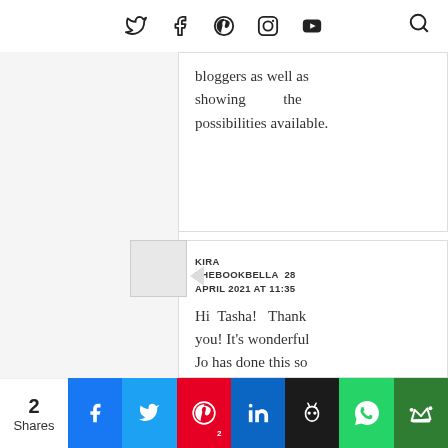social media icons: twitter, facebook, pinterest, instagram, youtube, search
bloggers as well as showing the possibilities available.
KIRA THEBOOKBELLA 28 APRIL 2021 AT 11:35
Hi Tasha! Thank you! It's wonderful Jo has done this so I had the opportunity to meet and experience more
2 Shares | facebook, twitter, pinterest 2, linkedin, hootsuite, whatsapp, crown